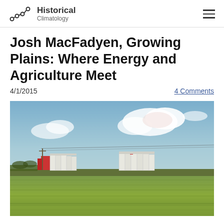Historical Climatology
Josh MacFadyen, Growing Plains: Where Energy and Agriculture Meet
4/1/2015
4 Comments
[Figure (photo): Photograph of a flat prairie landscape with green fields in the foreground and grain silos/elevators in the middle distance under a partly cloudy sky.]